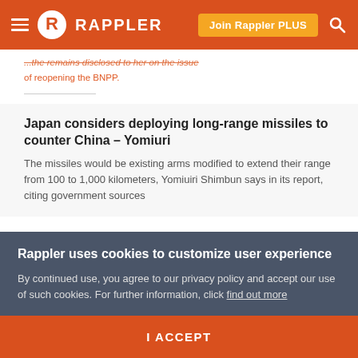Rappler
...the remains disclosed to her on the issue of reopening the BNPP.
Japan considers deploying long-range missiles to counter China – Yomiuri
The missiles would be existing arms modified to extend their range from 100 to 1,000 kilometers, Yomiuiri Shimbun says in its report, citing government sources
6. Representative of a partylist representing the marginalized. No doubt the perceived nature of the
Rappler uses cookies to customize user experience
By continued use, you agree to our privacy policy and accept our use of such cookies. For further information, click find out more
I ACCEPT